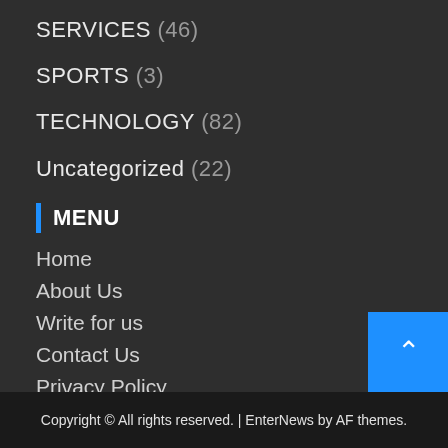SERVICES (46)
SPORTS (3)
TECHNOLOGY (82)
Uncategorized (22)
MENU
Home
About Us
Write for us
Contact Us
Privacy Policy
Disclaimer
Copyright © All rights reserved. | EnterNews by AF themes.